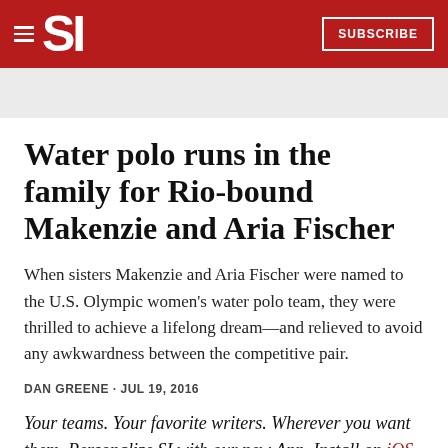SI SUBSCRIBE
Water polo runs in the family for Rio-bound Makenzie and Aria Fischer
When sisters Makenzie and Aria Fischer were named to the U.S. Olympic women's water polo team, they were thrilled to achieve a lifelong dream—and relieved to avoid any awkwardness between the competitive pair.
DAN GREENE · JUL 19, 2016
Your teams. Your favorite writers. Wherever you want them. Personalize SI with our new App. Install on iOS or Android